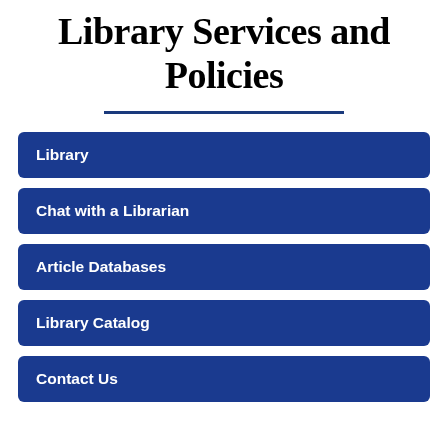Library Services and Policies
Library
Chat with a Librarian
Article Databases
Library Catalog
Contact Us